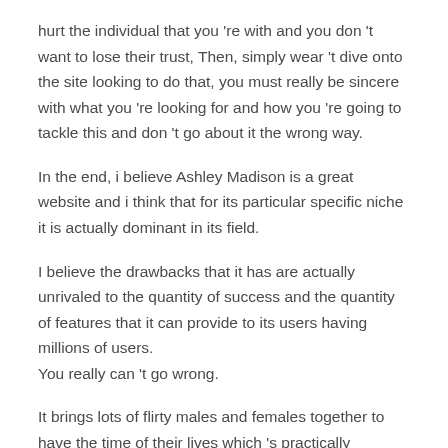hurt the individual that you 're with and you don 't want to lose their trust, Then, simply wear 't dive onto the site looking to do that, you must really be sincere with what you 're looking for and how you 're going to tackle this and don 't go about it the wrong way.
In the end, i believe Ashley Madison is a great website and i think that for its particular specific niche it is actually dominant in its field.
I believe the drawbacks that it has are actually unrivaled to the quantity of success and the quantity of features that it can provide to its users having millions of users.
You really can 't go wrong.
It brings lots of flirty males and females together to have the time of their lives which 's practically undeniable if you have used this website before, please, let me know in the description listed below i would enjoy to hear your experience, whether it 's an excellent One or maybe it 's a bad one, i would like to simply hear what you